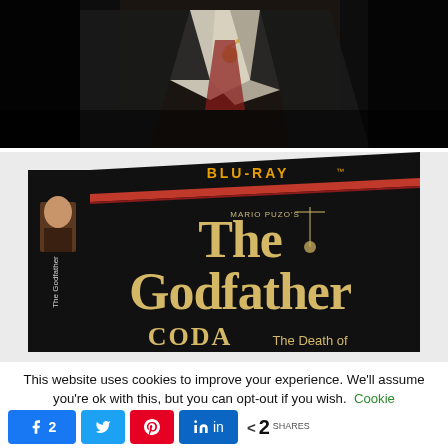[Figure (photo): Dark film still showing a person in a white suit/formal wear with what appears to be a decorative pin or brooch, dark background]
[Figure (photo): The Godfather Blu-ray box set packaging showing the title 'The Godfather CODA The Death of...' with Mario Puzo attribution, dark/black box with red stripe and BLU-RAY label]
This website uses cookies to improve your experience. We'll assume you're ok with this, but you can opt-out if you wish. Cookie
f 2  (Twitter share button)  (Pinterest share button)  in  < 2 SHARES